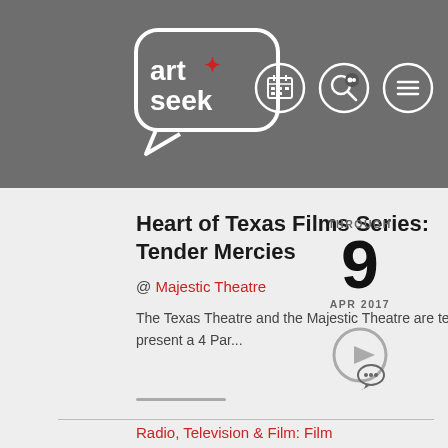[Figure (logo): ArtSeek logo — white speech bubble with 'art' and 'seek' text and a red plus/star symbol]
[Figure (infographic): Navigation icons: calendar, search, and hamburger menu in circular outlines]
Heart of Texas Films Series: Tender Mercies
@ Majestic Theatre
The Texas Theatre and the Majestic Theatre are teaming up to present a 4 Par...
THROUGH 9 APR 2017
Radio, Television & Film: Film